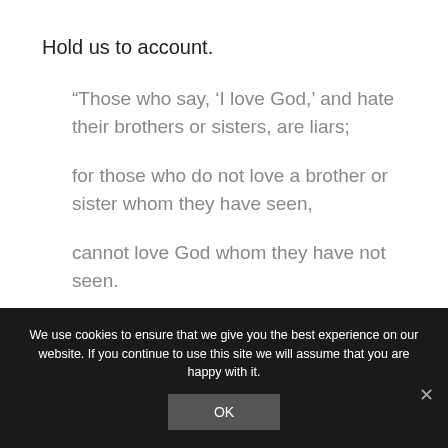Hold us to account.
“Those who say, ‘I love God,’ and hate their brothers or sisters, are liars;
for those who do not love a brother or sister whom they have seen,
cannot love God whom they have not seen.
We use cookies to ensure that we give you the best experience on our website. If you continue to use this site we will assume that you are happy with it.
OK